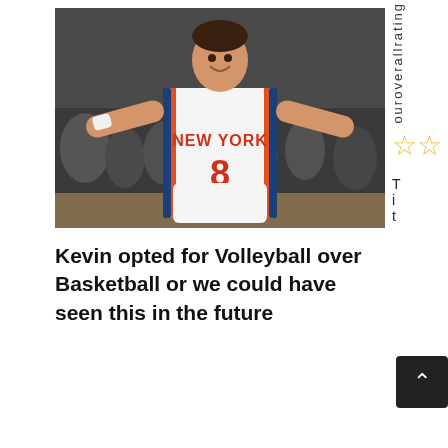[Figure (photo): A young man in a New York Knicks basketball jersey number 8, smiling and holding his arms out wide in front of a crowd.]
Kevin opted for Volleyball over Basketball or we could have seen this in the future
ouroverallrating
[Figure (other): Two gold/yellow star rating icons]
T i t